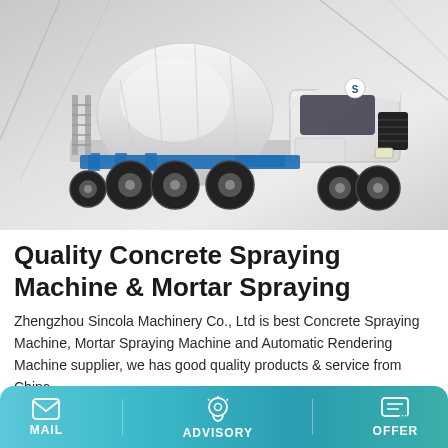[Figure (photo): A white concrete mixer truck (cement truck) on a light grey architectural background with diagonal lines. The truck is a large 8-wheeled vehicle with a rotating drum, ladder on the side, and blue accents on the chassis. Chinese manufacturer branding on the cab.]
Quality Concrete Spraying Machine & Mortar Spraying
Zhengzhou Sincola Machinery Co., Ltd is best Concrete Spraying Machine, Mortar Spraying Machine and Automatic Rendering Machine supplier, we has good quality products & service from China.
MAIL   ADVISORY   OFFER